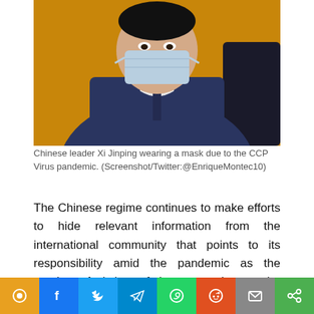[Figure (photo): Chinese leader Xi Jinping wearing a blue jacket and face mask, seated in front of an orange/yellow background and a dark chair back]
Chinese leader Xi Jinping wearing a mask due to the CCP Virus pandemic. (Screenshot/Twitter:@EnriqueMontec10)
The Chinese regime continues to make efforts to hide relevant information from the international community that points to its responsibility amid the pandemic as the number of victims of the coronavirus or the CCP (Chinese Communist Party) Virus increases around the world.
According to Reuters on April 24, China blocked a European Union report accusing the communist regime of spreading misinformation about the outbreak of the CCP